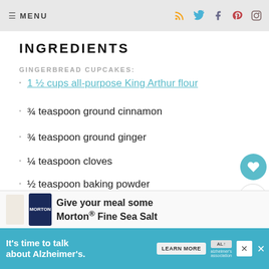MENU
INGREDIENTS
GINGERBREAD CUPCAKES:
1 ½ cups all-purpose King Arthur flour
¾ teaspoon ground cinnamon
¾ teaspoon ground ginger
¼ teaspoon cloves
½ teaspoon baking powder
½ teaspoon baking soda
¼ teaspoon salt
Give your meal some Morton® Fine Sea Salt
It's time to talk about Alzheimer's. LEARN MORE